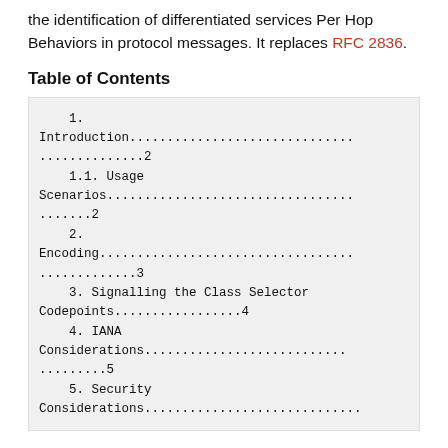the identification of differentiated services Per Hop Behaviors in protocol messages. It replaces RFC 2836.
Table of Contents
1. Introduction...............................................2
   1.1. Usage Scenarios........................................2
   2. Encoding..................................................3
   3. Signalling the Class Selector Codepoints..................4
   4. IANA Considerations.......................................5
   5. Security Considerations...